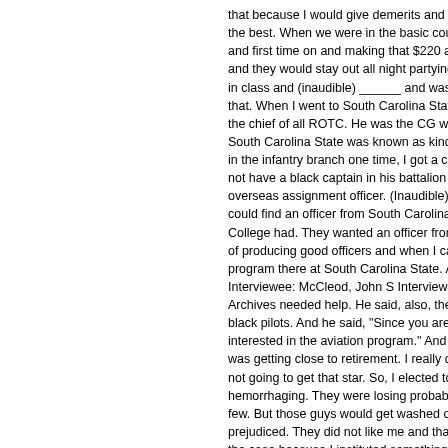that because I would give demerits and demanded the best. When we were in the basic course, we had and first time on and making that $220 a month. You and they would stay out all night partying and come in class and (inaudible) ______ and washing out. For that. When I went to South Carolina State for that job the chief of all ROTC. He was the CG working out of South Carolina State was known as kind of the West in the infantry branch one time, I got a call from a co not have a black captain in his battalion and he want overseas assignment officer. (Inaudible)________ a gu could find an officer from South Carolina State?" That College had. They wanted an officer from South Carol of producing good officers and when I came on board program there at South Carolina State. And the gene Interviewee: McCleod, John S Interview: August 17, 2 Archives needed help. He said, also, they were runni black pilots. And he said, "Since you are a pilot, mayb interested in the aviation program." And that is the c was getting close to retirement. I really did not want not going to get that star. So, I elected to go back to hemorrhaging. They were losing probably 10, 15, 20 c few. But those guys would get washed out in the bas prejudiced. They did not like me and that is why they the case because I instituted something there that re